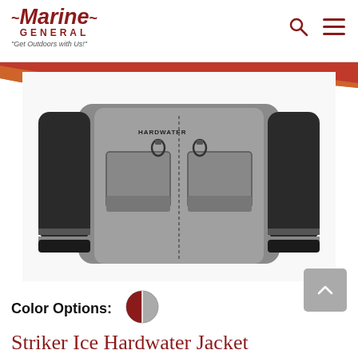Marine General — Get Outdoors with Us!
[Figure (photo): Gray and black Striker Ice Hardwater fishing jacket with multiple chest pockets and reflective cuffs, displayed on white background]
Color Options:
[Figure (illustration): Round color swatch split half red and half gray showing jacket color options]
Striker Ice Hardwater Jacket